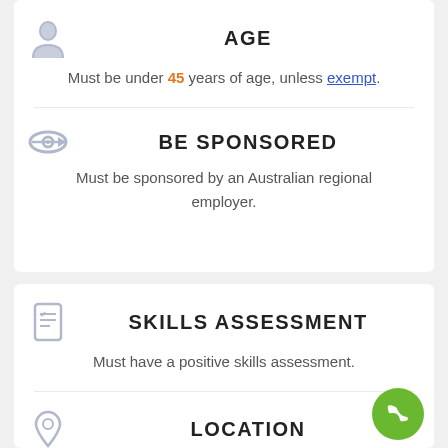AGE
Must be under 45 years of age, unless exempt.
BE SPONSORED
Must be sponsored by an Australian regional employer.
SKILLS ASSESSMENT
Must have a positive skills assessment.
LOCATION
Must live and work in regional areas in Australia.